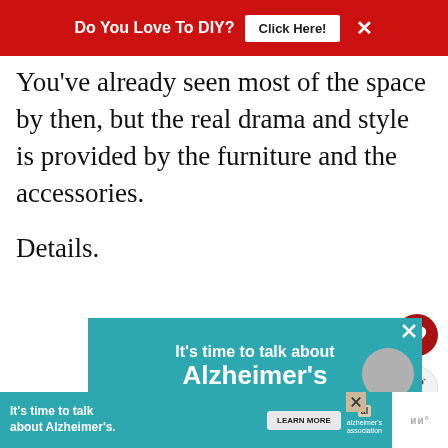Do You Love To DIY? Click Here! ×
You've already seen most of the space by then, but the real drama and style is provided by the furniture and the accessories.

Details.
[Figure (infographic): Advertisement: It's time to talk about Alzheimer's. LEARN MORE button. Alzheimer's Association logo.]
[Figure (infographic): Small bottom advertisement: It's time to talk about Alzheimer's. LEARN MORE button. Alzheimer's Association logo.]